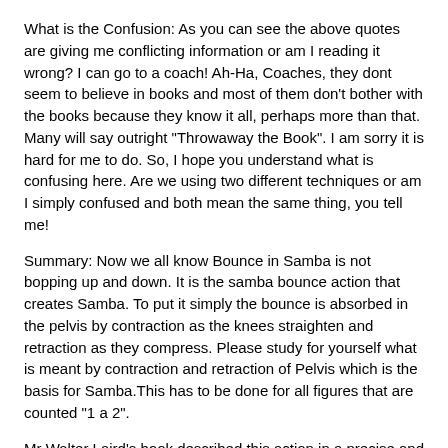What is the Confusion: As you can see the above quotes are giving me conflicting information or am I reading it wrong? I can go to a coach! Ah-Ha, Coaches, they dont seem to believe in books and most of them don't bother with the books because they know it all, perhaps more than that. Many will say outright "Throwaway the Book". I am sorry it is hard for me to do. So, I hope you understand what is confusing here. Are we using two different techniques or am I simply confused and both mean the same thing, you tell me!
Summary: Now we all know Bounce in Samba is not bopping up and down. It is the samba bounce action that creates Samba. To put it simply the bounce is absorbed in the pelvis by contraction as the knees straighten and retraction as they compress. Please study for yourself what is meant by contraction and retraction of Pelvis which is the basis for Samba.This has to be done for all figures that are counted "1 a 2".
Mr Walter Laird's book described this action in a precise and very clear manner which I was able to understand and the "diagramatics" was very helpful. Even though Reverse Basic is more common (USA), let's stick to a Natural Basic Movement counted "1 a 2". This is commonly described in the textbooks.
My interpretation: ..."Commence with feet together, knees slightly flexed (compressed), weight on the left foot. Rehearsal of left foot weight on the ball of...